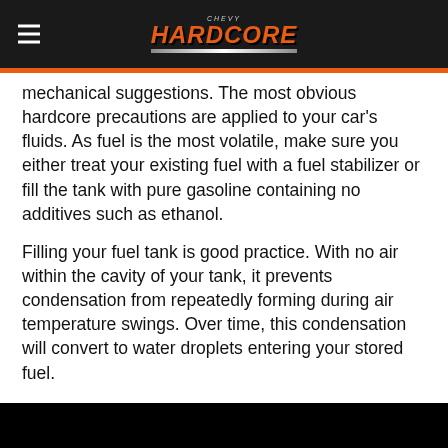Chevy Hardcore
mechanical suggestions. The most obvious hardcore precautions are applied to your car's fluids. As fuel is the most volatile, make sure you either treat your existing fuel with a fuel stabilizer or fill the tank with pure gasoline containing no additives such as ethanol.
Filling your fuel tank is good practice. With no air within the cavity of your tank, it prevents condensation from repeatedly forming during air temperature swings. Over time, this condensation will convert to water droplets entering your stored fuel.
[Figure (photo): Dark/black image area placeholder for a car-related photograph]
[Figure (infographic): ARP automotive racing products advertisement banner reading FIGHT RUST! with ARP logo and automotive Racing products tagline]